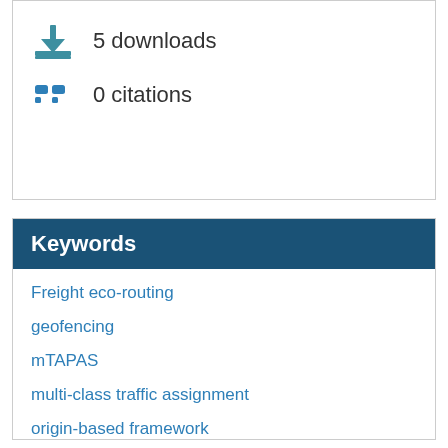5 downloads
0 citations
Keywords
Freight eco-routing
geofencing
mTAPAS
multi-class traffic assignment
origin-based framework
paired alternative segments